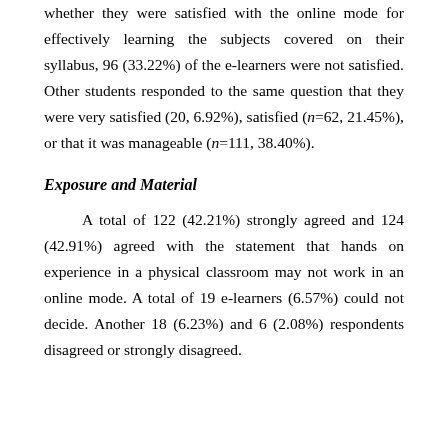whether they were satisfied with the online mode for effectively learning the subjects covered on their syllabus, 96 (33.22%) of the e-learners were not satisfied. Other students responded to the same question that they were very satisfied (20, 6.92%), satisfied (n=62, 21.45%), or that it was manageable (n=111, 38.40%).
Exposure and Material
A total of 122 (42.21%) strongly agreed and 124 (42.91%) agreed with the statement that hands on experience in a physical classroom may not work in an online mode. A total of 19 e-learners (6.57%) could not decide. Another 18 (6.23%) and 6 (2.08%) respondents disagreed or strongly disagreed.